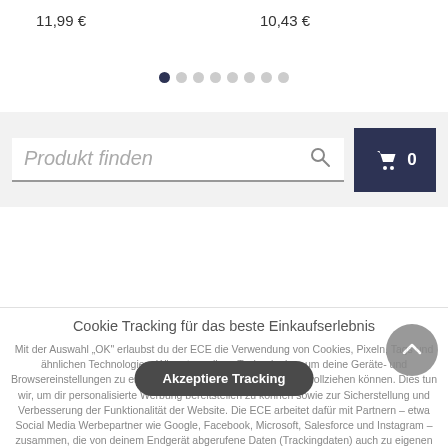11,99 €
10,43 €
[Figure (other): Pagination dots row with 8 dots, first one filled dark navy, rest light grey]
[Figure (screenshot): Search bar with placeholder text 'Produkt finden', magnifier icon, and dark navy shopping cart button with cart icon and '0']
Cookie Tracking für das beste Einkaufserlebnis
Mit der Auswahl "OK" erlaubst du der ECE die Verwendung von Cookies, Pixeln, Tags und ähnlichen Technologien. Wir nutzen diese Technologien, um deine Geräte- und Browsereinstellungen zu erfahren, damit wir deine Aktivität nachvollziehen können. Dies tun wir, um dir personalisierte Werbung bereitstellen zu können sowie zur Sicherstellung und Verbesserung der Funktionalität der Website. Die ECE arbeitet dafür mit Partnern – etwa Social Media Werbepartner wie Google, Facebook, Microsoft, Salesforce und Instagram – zusammen, die von deinem Endgerät abgerufene Daten (Trackingdaten) auch zu eigenen Zwecken (z.B. Profilbildungen) zu Zwecken Dritter verarbeiten. Dies schließt auch deine Einwilligung zur Datenverarbeitung durch Empfänger außerhalb des EWR, zum Beispiel in den USA. Dort besteht kein entsprechendes Datenschutzniveau.
Akzeptiere Tracking